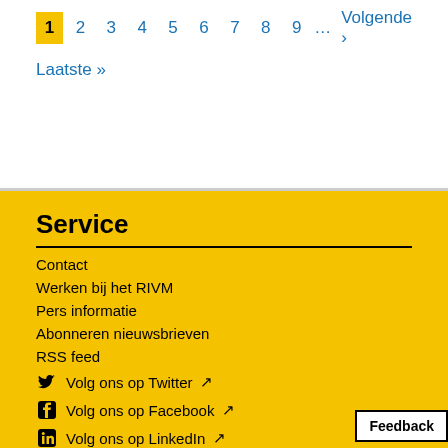1 2 3 4 5 6 7 8 9 … Volgende › Laatste »
Service
Contact
Werken bij het RIVM
Pers informatie
Abonneren nieuwsbrieven
RSS feed
Volg ons op Twitter ↗
Volg ons op Facebook ↗
Volg ons op LinkedIn ↗
Volg ons op YouTube ↗
Volg ons op Instagram ↗